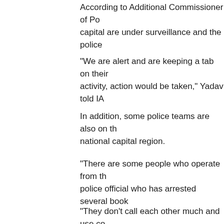According to Additional Commissioner of Po... capital are under surveillance and the police...
"We are alert and are keeping a tab on their... activity, action would be taken," Yadav told IA...
In addition, some police teams are also on th... national capital region.
"There are some people who operate from th... police official who has arrested several book...
"They don't call each other much and use co... added.
(Alok Singh can be contacted at alok.s@ians.in)
More Headlines
Row over sex CD: Jaitley says Congress using IAS...
Sex video CD forced Narendra Modi govt to snoop w...
India ahead of US, China as best investment destina...